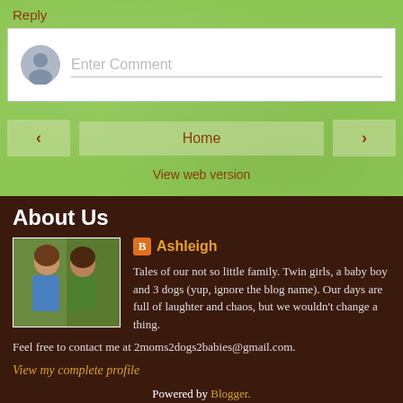Reply
[Figure (other): Comment input box with avatar placeholder and 'Enter Comment' placeholder text]
[Figure (other): Navigation bar with left arrow button, Home button, and right arrow button]
View web version
About Us
[Figure (photo): Photo of two women smiling, one in blue top, one in green]
Ashleigh
Tales of our not so little family. Twin girls, a baby boy and 3 dogs (yup, ignore the blog name). Our days are full of laughter and chaos, but we wouldn't change a thing. Feel free to contact me at 2moms2dogs2babies@gmail.com.
View my complete profile
Powered by Blogger.